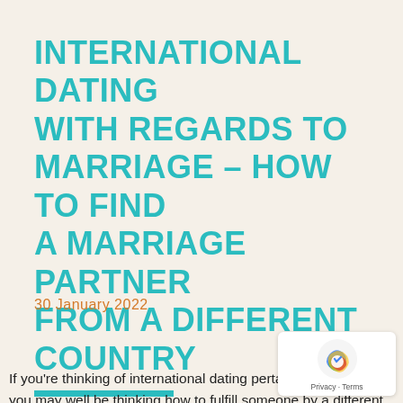INTERNATIONAL DATING WITH REGARDS TO MARRIAGE – HOW TO FIND A MARRIAGE PARTNER FROM A DIFFERENT COUNTRY
30 January 2022
If you're thinking of international dating pertaining to marriage, you may well be thinking how to fulfill someone by a different nation. The good news is that